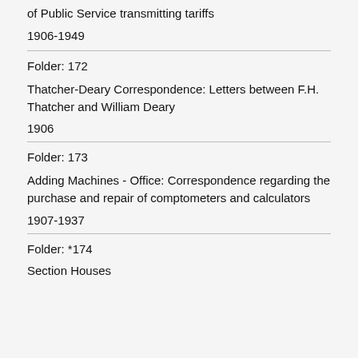of Public Service transmitting tariffs
1906-1949
Folder: 172
Thatcher-Deary Correspondence: Letters between F.H. Thatcher and William Deary
1906
Folder: 173
Adding Machines - Office: Correspondence regarding the purchase and repair of comptometers and calculators
1907-1937
Folder: *174
Section Houses